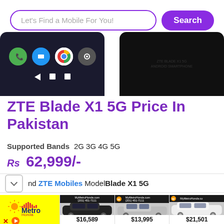[Figure (screenshot): Search bar with placeholder 'Let's Find a Mobile For You!' and purple Search button]
[Figure (photo): Two ZTE Blade X1 5G phone images: left shows app icons screen, right shows back of phone in dark color]
ZTE Blade X1 5G Price In Pakistan
Supported Bands   2G 3G 4G 5G
Rs 62,999/-
nd ZTE Mobiles Model Blade X1 5G
[Figure (screenshot): Advertisement strip showing Metro Honda car dealer ads with car prices $16,589, $13,995, $21,501]